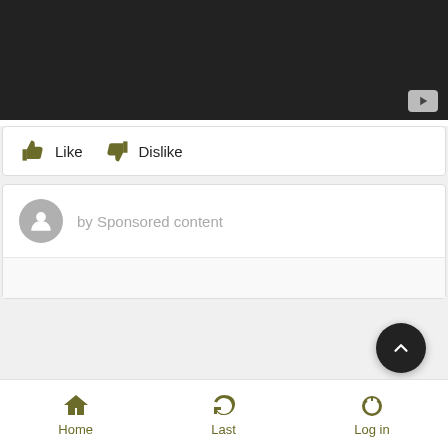[Figure (screenshot): Dark video thumbnail with YouTube play button in bottom right corner]
Like   Dislike
by Sponsored content
[Figure (other): Scroll to top circular dark button with upward chevron]
Home   Last   Log in